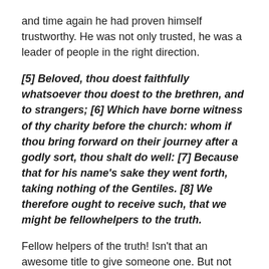and time again he had proven himself trustworthy. He was not only trusted, he was a leader of people in the right direction.
[5] Beloved, thou doest faithfully whatsoever thou doest to the brethren, and to strangers; [6] Which have borne witness of thy charity before the church: whom if thou bring forward on their journey after a godly sort, thou shalt do well: [7] Because that for his name's sake they went forth, taking nothing of the Gentiles. [8] We therefore ought to receive such, that we might be fellowhelpers to the truth.
Fellow helpers of the truth! Isn't that an awesome title to give someone one. But not everyone was a fan of John and Gaius. There was jerk named Diotrephes that John called out. He cracked me up when he showed his holy hostility and righteous rage to this fella who thought he was all that and